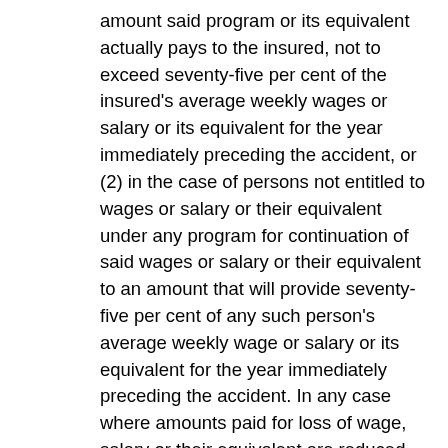amount said program or its equivalent actually pays to the insured, not to exceed seventy-five per cent of the insured's average weekly wages or salary or its equivalent for the year immediately preceding the accident, or (2) in the case of persons not entitled to wages or salary or their equivalent under any program for continuation of said wages or salary or their equivalent to an amount that will provide seventy-five per cent of any such person's average weekly wage or salary or its equivalent for the year immediately preceding the accident. In any case where amounts paid for loss of wage, salary or their equivalent are reduced as a resul of any program for continuation of the same and such reduction produces a subsequent loss, as when the limit of any such program for continuation of wage or salary or their equivalent is exhausted with the result that an injured person cannot recover for a later injury or illness as he would have been entitled to but for such a reduction, such subsequent loss to an amount equalling the reduction